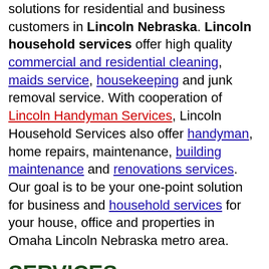solutions for residential and business customers in Lincoln Nebraska. Lincoln household services offer high quality commercial and residential cleaning, maids service, housekeeping and junk removal service. With cooperation of Lincoln Handyman Services, Lincoln Household Services also offer handyman, home repairs, maintenance, building maintenance and renovations services. Our goal is to be your one-point solution for business and household services for your house, office and properties in Omaha Lincoln Nebraska metro area.
SERVICES:
House Cleaning